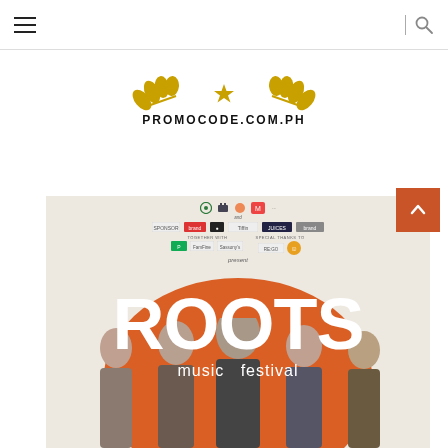≡   | 🔍
[Figure (logo): PROMOCODE.COM.PH logo with golden laurel wreath and star emblem above the text]
[Figure (photo): Roots Music Festival promotional poster showing performers in front of an orange circle backdrop, with sponsor logos at top and large white ROOTS text with 'music festival' subtitle]